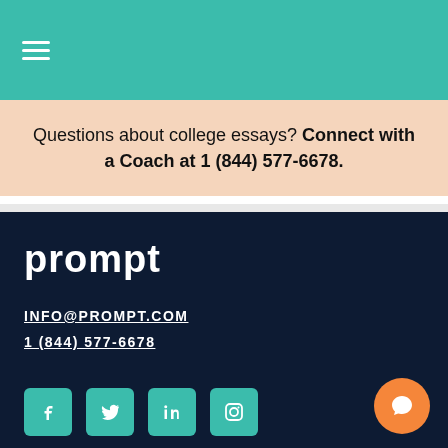≡
Questions about college essays? Connect with a Coach at 1 (844) 577-6678.
[Figure (logo): Prompt logo in white text on dark navy background]
INFO@PROMPT.COM
1 (844) 577-6678
[Figure (infographic): Social media icons: Facebook, Twitter, LinkedIn, Instagram in teal rounded square buttons]